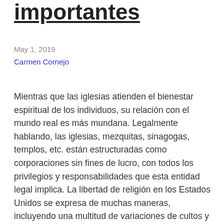importantes
May 1, 2019
Carmen Cornejo
Mientras que las iglesias atienden el bienestar espiritual de los individuos, su relación con el mundo real es más mundana. Legalmente hablando, las iglesias, mezquitas, sinagogas, templos, etc. están estructuradas como corporaciones sin fines de lucro, con todos los privilegios y responsabilidades que esta entidad legal implica. La libertad de religión en los Estados Unidos se expresa de muchas maneras, incluyendo una multitud de variaciones de cultos y formas de adorar, desde las iglesias protestantes…